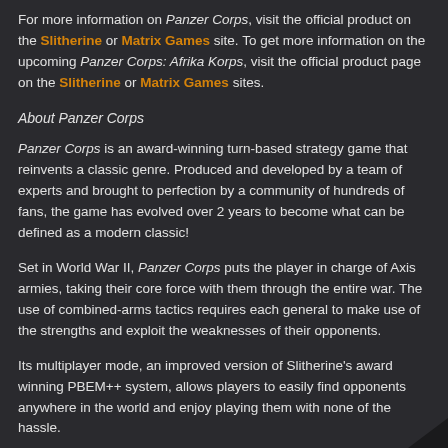For more information on Panzer Corps, visit the official product on the Slitherine or Matrix Games site. To get more information on the upcoming Panzer Corps: Afrika Korps, visit the official product page on the Slitherine or Matrix Games sites.
About Panzer Corps
Panzer Corps is an award-winning turn-based strategy game that reinvents a classic genre. Produced and developed by a team of experts and brought to perfection by a community of hundreds of fans, the game has evolved over 2 years to become what can be defined as a modern classic!
Set in World War II, Panzer Corps puts the player in charge of Axis armies, taking their core force with them through the entire war. The use of combined-arms tactics requires each general to make use of the strengths and exploit the weaknesses of their opponents.
Its multiplayer mode, an improved version of Slitherine’s award winning PBEM++ system, allows players to easily find opponents anywhere in the world and enjoy playing them with none of the hassle.
Panzer Corps is designed to replicate the feeling of a classic wargame